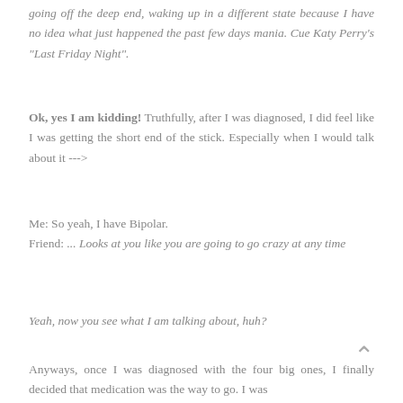going off the deep end, waking up in a different state because I have no idea what just happened the past few days mania. Cue Katy Perry's "Last Friday Night".
Ok, yes I am kidding! Truthfully, after I was diagnosed, I did feel like I was getting the short end of the stick. Especially when I would talk about it --->
Me: So yeah, I have Bipolar.
Friend: ... Looks at you like you are going to go crazy at any time
Yeah, now you see what I am talking about, huh?
Anyways, once I was diagnosed with the four big ones, I finally decided that medication was the way to go. I was